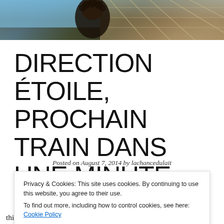[Figure (photo): Partial photo at top of page showing a person with dark curly hair in front of what appears to be a glass pyramid structure (likely the Louvre), with blue sky visible]
DIRECTION ÉTOILE, PROCHAIN TRAIN DANS UNE MINUTE.
Posted on August 7, 2014 by lachancedulait
Privacy & Cookies: This site uses cookies. By continuing to use this website, you agree to their use.
To find out more, including how to control cookies, see here: Cookie Policy
Close and accept
think it was technically just a 'township'. Anyway, it